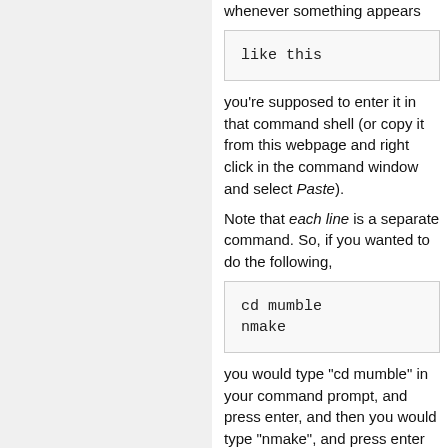whenever something appears
like this
you're supposed to enter it in that command shell (or copy it from this webpage and right click in the command window and select Paste).
Note that each line is a separate command. So, if you wanted to do the following,
cd mumble
nmake
you would type "cd mumble" in your command prompt, and press enter, and then you would type "nmake", and press enter